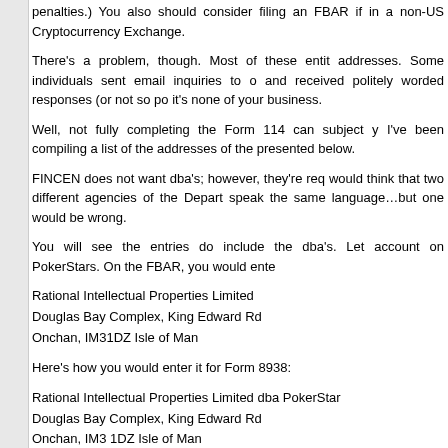penalties.) You also should consider filing an FBAR if in a non-US Cryptocurrency Exchange.
There's a problem, though. Most of these entities don't have addresses. Some individuals sent email inquiries to obtain addresses and received politely worded responses (or not so politely) that it's none of your business.
Well, not fully completing the Form 114 can subject you to penalties. I've been compiling a list of the addresses of the exchanges, presented below.
FINCEN does not want dba's; however, they're required by IRS. One would think that two different agencies of the Department of Treasury speak the same language…but one would be wrong.
You will see the entries do include the dba's. Let's say you have an account on PokerStars. On the FBAR, you would enter:
Rational Intellectual Properties Limited
Douglas Bay Complex, King Edward Rd
Onchan, IM31DZ Isle of Man
Here's how you would enter it for Form 8938:
Rational Intellectual Properties Limited dba PokerStars
Douglas Bay Complex, King Edward Rd
Onchan, IM3 1DZ Isle of Man